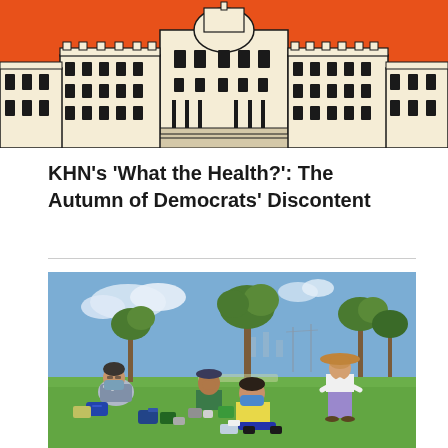[Figure (illustration): Illustrated skyline of government/capitol buildings with dome in center on an orange background, drawn in a cartoon/line-art style]
KHN’s ‘What the Health?’: The Autumn of Democrats’ Discontent
[Figure (photo): Outdoor photo of four people wearing masks sitting or standing on grass in a park with trees in the background on a sunny day]